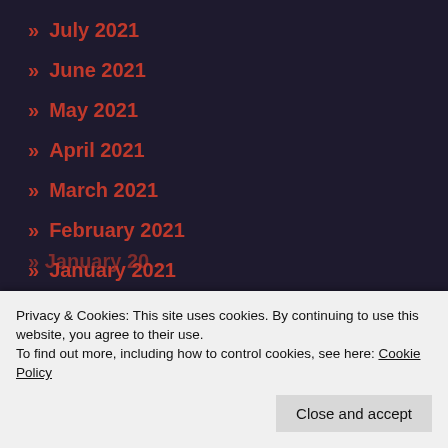» July 2021
» June 2021
» May 2021
» April 2021
» March 2021
» February 2021
» January 2021
» December 2020
» November 2020
» August 2020
Privacy & Cookies: This site uses cookies. By continuing to use this website, you agree to their use.
To find out more, including how to control cookies, see here: Cookie Policy